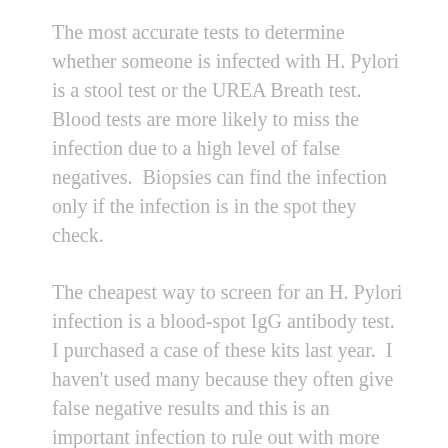The most accurate tests to determine whether someone is infected with H. Pylori is a stool test or the UREA Breath test.  Blood tests are more likely to miss the infection due to a high level of false negatives.  Biopsies can find the infection only if the infection is in the spot they check.
The cheapest way to screen for an H. Pylori infection is a blood-spot IgG antibody test.  I purchased a case of these kits last year.  I haven't used many because they often give false negative results and this is an important infection to rule out with more dependable methods.
However, my case of test kits have a 5/2011